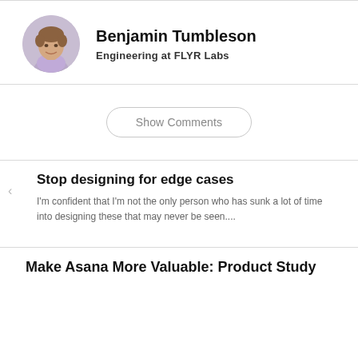[Figure (photo): Circular avatar photo of Benjamin Tumbleson, a young man with brown hair wearing a light purple shirt, smiling.]
Benjamin Tumbleson
Engineering at FLYR Labs
Show Comments
Stop designing for edge cases
I'm confident that I'm not the only person who has sunk a lot of time into designing these that may never be seen....
Make Asana More Valuable: Product Study